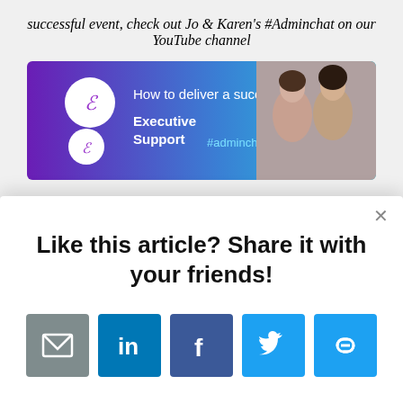successful event, check out Jo & Karen's #Adminchat on our YouTube channel
[Figure (screenshot): YouTube video thumbnail showing Executive Support #adminchat video titled 'How to deliver a successful ev...' with purple/blue gradient background and two women's faces]
Like this article? Share it with your friends!
[Figure (infographic): Share buttons row: email (grey), LinkedIn (blue), Facebook (dark blue), Twitter (light blue), link/share (light blue)]